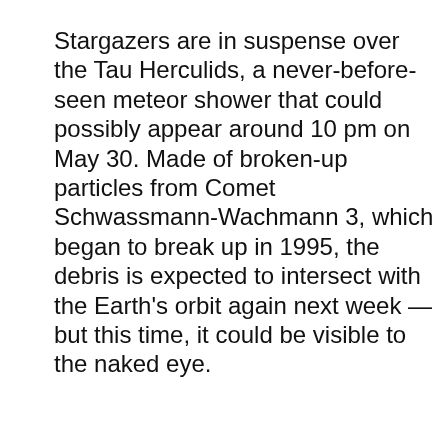Stargazers are in suspense over the Tau Herculids, a never-before-seen meteor shower that could possibly appear around 10 pm on May 30. Made of broken-up particles from Comet Schwassmann-Wachmann 3, which began to break up in 1995, the debris is expected to intersect with the Earth's orbit again next week — but this time, it could be visible to the naked eye.
We use cookies on our website to give you the most relevant experience by remembering your preferences and repeat visits. By clicking "Accept All", you consent to the use of ALL the cookies. However, you may visit "Cookie Settings" to provide a controlled consent.